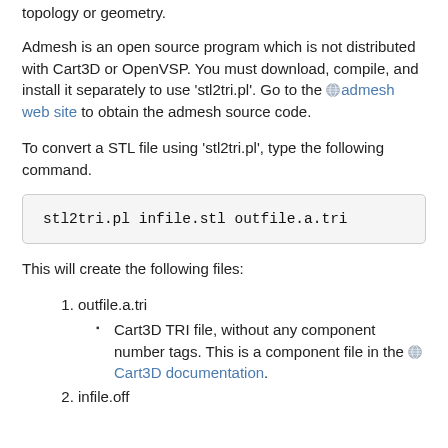topology or geometry.
Admesh is an open source program which is not distributed with Cart3D or OpenVSP. You must download, compile, and install it separately to use 'stl2tri.pl'. Go to the admesh web site to obtain the admesh source code.
To convert a STL file using 'stl2tri.pl', type the following command.
stl2tri.pl infile.stl outfile.a.tri
This will create the following files:
outfile.a.tri
Cart3D TRI file, without any component number tags. This is a component file in the Cart3D documentation.
infile.off